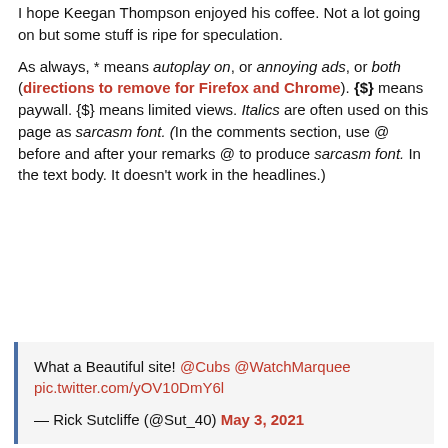I hope Keegan Thompson enjoyed his coffee. Not a lot going on but some stuff is ripe for speculation.
As always, * means autoplay on, or annoying ads, or both (directions to remove for Firefox and Chrome). {$} means paywall. {$} means limited views. Italics are often used on this page as sarcasm font. (In the comments section, use @ before and after your remarks @ to produce sarcasm font. In the text body. It doesn't work in the headlines.)
What a Beautiful site! @Cubs @WatchMarquee pic.twitter.com/yOV10DmY6l

— Rick Sutcliffe (@Sut_40) May 3, 2021